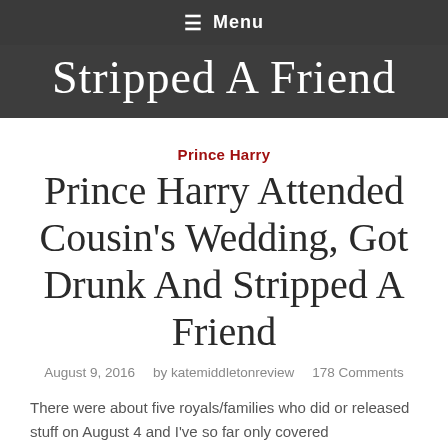≡ Menu
Stripped A Friend
Prince Harry
Prince Harry Attended Cousin's Wedding, Got Drunk And Stripped A Friend
August 9, 2016   by katemiddletonreview   178 Comments
There were about five royals/families who did or released stuff on August 4 and I've so far only covered